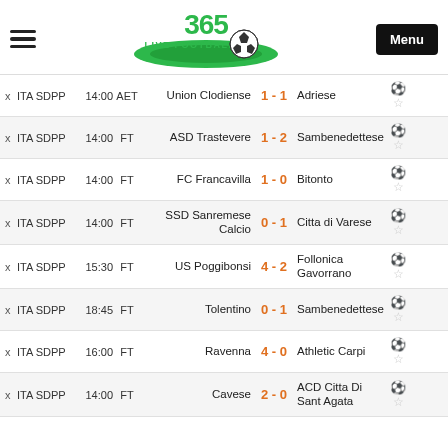[Figure (logo): 365 Live Football logo with soccer ball and green swoosh, hamburger menu icon on left, Menu button on right]
|  | League | Time | Status | Home | Score | Away |  |
| --- | --- | --- | --- | --- | --- | --- | --- |
| x | ITA SDPP | 14:00 | AET | Union Clodiense | 1 - 1 | Adriese |  |
| x | ITA SDPP | 14:00 | FT | ASD Trastevere | 1 - 2 | Sambenedettese |  |
| x | ITA SDPP | 14:00 | FT | FC Francavilla | 1 - 0 | Bitonto |  |
| x | ITA SDPP | 14:00 | FT | SSD Sanremese Calcio | 0 - 1 | Citta di Varese |  |
| x | ITA SDPP | 15:30 | FT | US Poggibonsi | 4 - 2 | Follonica Gavorrano |  |
| x | ITA SDPP | 18:45 | FT | Tolentino | 0 - 1 | Sambenedettese |  |
| x | ITA SDPP | 16:00 | FT | Ravenna | 4 - 0 | Athletic Carpi |  |
| x | ITA SDPP | 14:00 | FT | Cavese | 2 - 0 | ACD Citta Di Sant Agata |  |